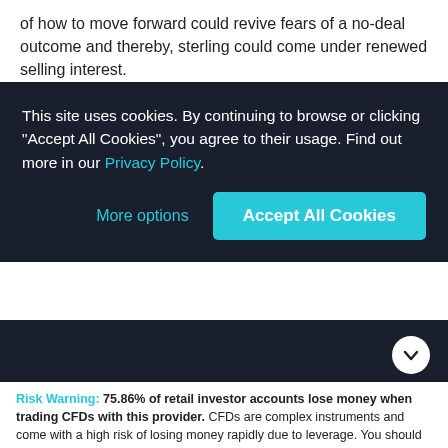of how to move forward could revive fears of a no-deal outcome and thereby, sterling could come under renewed selling interest.
GBP/JPY – Technical Outlook
This site uses cookies. By continuing to browse or clicking "Accept All Cookies", you agree to their usage. Find out more in our Privacy Policy.
More options | Accept All Cookies
Risk Warning: 75.86% of retail investor accounts lose money when trading CFDs with this provider. CFDs are complex instruments and come with a high risk of losing money rapidly due to leverage. You should consider whether you understand how CFDs work, and whether you can afford to take the high risk of losing your money.